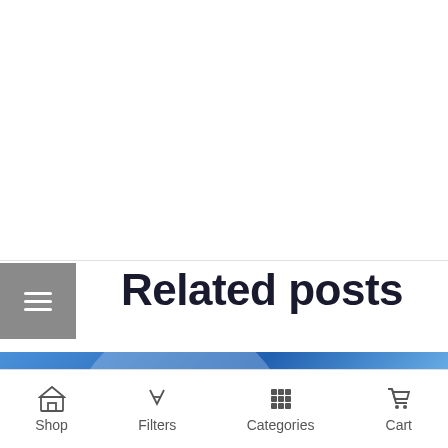Related posts
[Figure (photo): Promotional image for Vapor Fair event showing a cannabis leaf silhouette against a blue moon background, with text 'VAPOR FAIR DEC. 16TH - 17TH 2017 NEW YORK CITY MEET US AT THE VAPORFAIR']
Shop   Filters   Categories   Cart